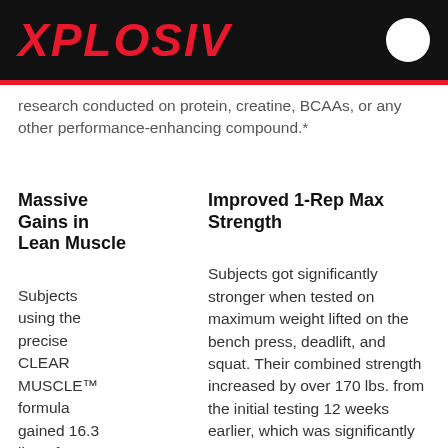XPLOSIV
research conducted on protein, creatine, BCAAs, or any other performance-enhancing compound.*
Massive Gains in Lean Muscle
Improved 1-Rep Max Strength
Subjects using the precise CLEAR MUSCLE™ formula gained 16.3 lbs. of muscle in 12
Subjects got significantly stronger when tested on maximum weight lifted on the bench press, deadlift, and squat. Their combined strength increased by over 170 lbs. from the initial testing 12 weeks earlier, which was significantly more than the placebo group.*